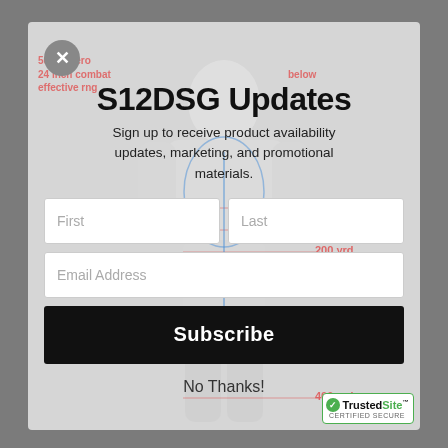S12DSG Updates
Sign up to receive product availability updates, marketing, and promotional materials.
First
Last
Email Address
Subscribe
No Thanks!
[Figure (illustration): TrustedSite certified secure badge with green checkmark]